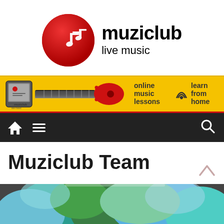[Figure (logo): Muziclub live music logo: red circle with white music notes icon, text 'muziclub' bold and 'live music' below]
[Figure (infographic): Yellow banner advertisement: tablet device with Muziclub branding, electric guitar graphic, text 'online music lessons' with WiFi icon and 'learn from home']
[Figure (infographic): Dark navigation bar with home icon, hamburger menu icon, and search icon on the right]
Muziclub Team
[Figure (photo): Partial colorful photo at bottom of page, showing what appears to be people or colorful clothing in teal, blue, and green tones]